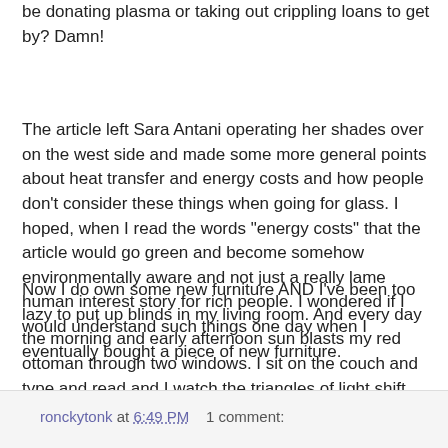be donating plasma or taking out crippling loans to get by? Damn!
The article left Sara Antani operating her shades over on the west side and made some more general points about heat transfer and energy costs and how people don't consider these things when going for glass. I hoped, when I read the words "energy costs" that the article would go green and become somehow environmentally aware and not just a really lame human interest story for rich people. I wondered if I would understand such things one day when I eventually bought a piece of new furniture.
Now I do own some new furniture AND I've been too lazy to put up blinds in my living room. And every day the morning and early afternoon sun blasts my red ottoman through two windows. I sit on the couch and type and read and I watch the triangles of light shift across the ottoman and I think about Sara Antani. I still don't feel sorry for her.
ronckytonk at 6:49 PM    1 comment: